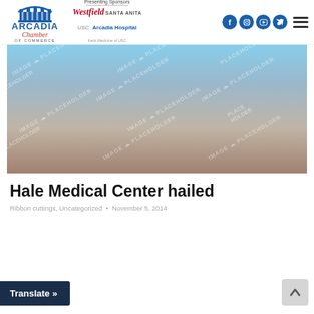Arcadia Chamber of Commerce — Presenting Sponsors: Westfield Santa Anita, USC Arcadia Hospital
[Figure (photo): Large placeholder hero image with gradient background (sky blue to brown tones) and repeated IMAGE PLACEHOLDER watermarks in diagonal pattern]
Hale Medical Center hailed
Ribbon cuttings, Uncategorized • November 5, 2014
Translate »